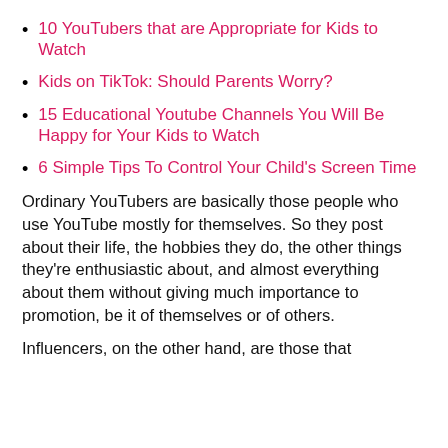10 YouTubers that are Appropriate for Kids to Watch
Kids on TikTok: Should Parents Worry?
15 Educational Youtube Channels You Will Be Happy for Your Kids to Watch
6 Simple Tips To Control Your Child's Screen Time
Ordinary YouTubers are basically those people who use YouTube mostly for themselves. So they post about their life, the hobbies they do, the other things they're enthusiastic about, and almost everything about them without giving much importance to promotion, be it of themselves or of others.
Influencers, on the other hand, are those that